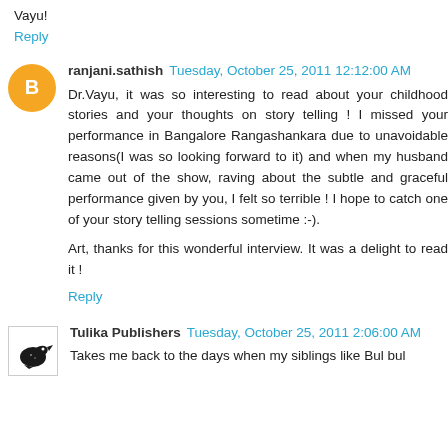Vayu!
Reply
ranjani.sathish  Tuesday, October 25, 2011 12:12:00 AM
Dr.Vayu, it was so interesting to read about your childhood stories and your thoughts on story telling ! I missed your performance in Bangalore Rangashankara due to unavoidable reasons(I was so looking forward to it) and when my husband came out of the show, raving about the subtle and graceful performance given by you, I felt so terrible ! I hope to catch one of your story telling sessions sometime :-).
Art, thanks for this wonderful interview. It was a delight to read it !
Reply
Tulika Publishers  Tuesday, October 25, 2011 2:06:00 AM
Takes me back to the days when my siblings like Bul bul